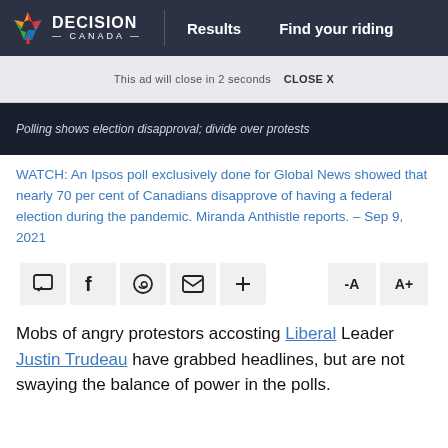DECISION CANADA | Results   Find your riding
This ad will close in 2 seconds  CLOSE X
[Figure (screenshot): Dark video thumbnail showing text 'Polling shows election disapproval; divide over protests']
WATCH: An Ipsos poll exclusively done for Global News showed that nearly 70 per cent of Canadians disapprove of having a federal election during the pandemic. Miranda Anthistle reports. – Sep 9, 2021
Share toolbar: comment, facebook, whatsapp, email, more, -A, A+
Mobs of angry protestors accosting Liberal Leader Justin Trudeau have grabbed headlines, but are not swaying the balance of power in the polls.